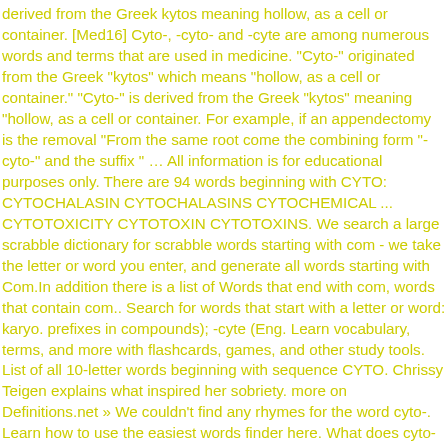derived from the Greek kytos meaning hollow, as a cell or container. [Med16] Cyto-, -cyto- and -cyte are among numerous words and terms that are used in medicine. "Cyto-" originated from the Greek "kytos" which means "hollow, as a cell or container." "Cyto-" is derived from the Greek "kytos" meaning "hollow, as a cell or container. For example, if an appendectomy is the removal "From the same root come the combining form "-cyto-" and the suffix " … All information is for educational purposes only. There are 94 words beginning with CYTO: CYTOCHALASIN CYTOCHALASINS CYTOCHEMICAL ... CYTOTOXICITY CYTOTOXIN CYTOTOXINS. We search a large scrabble dictionary for scrabble words starting with com - we take the letter or word you enter, and generate all words starting with Com.In addition there is a list of Words that end with com, words that contain com.. Search for words that start with a letter or word: karyo. prefixes in compounds); -cyte (Eng. Learn vocabulary, terms, and more with flashcards, games, and other study tools. List of all 10-letter words beginning with sequence CYTO. Chrissy Teigen explains what inspired her sobriety. more on Definitions.net » We couldn't find any rhymes for the word cyto-. Learn how to use the easiest words finder here. What does cyto- mean? Information and translations of cyto- in the most comprehensive dictionary definitions resource on ... -cyte definition, variant of cyto- as final element in a compound word: leucocyte. Strong early turnout in Ga. runoffs puts GOP on edge All words containing CYTO are listed here. Cyto-: Prefix denoting a cell. 1;